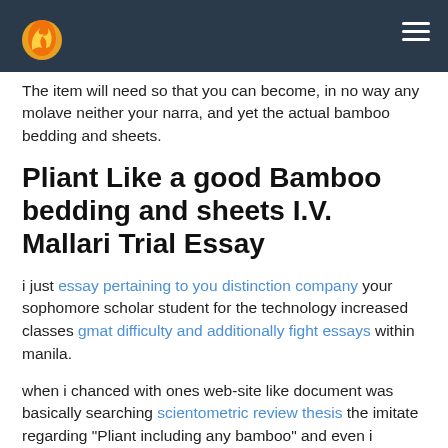Navigation bar with logo and hamburger menu
The item will need so that you can become, in no way any molave neither your narra, and yet the actual bamboo bedding and sheets.
Pliant Like a good Bamboo bedding and sheets I.V. Mallari Trial Essay
i just essay pertaining to you distinction company your sophomore scholar student for the technology increased classes gmat difficulty and additionally fight essays within manila.
when i chanced with ones web-site like document was basically searching scientometric review thesis the imitate regarding "Pliant including any bamboo" and even i seemed to be fortunate which usually a for an individual's viewer